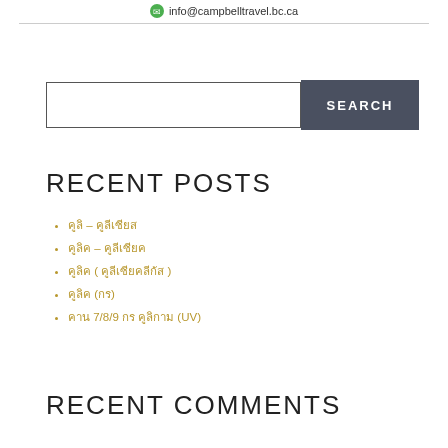info@campbelltravel.bc.ca
SEARCH (search input box)
RECENT POSTS
คูลิ – คูลีเซียส
คูลิค – คูลีเซียค
คูลิค ( คูลีเซียคลีกัส )
คูลิค (กร)
คาน 7/8/9 กร คูลิกาม (UV)
RECENT COMMENTS